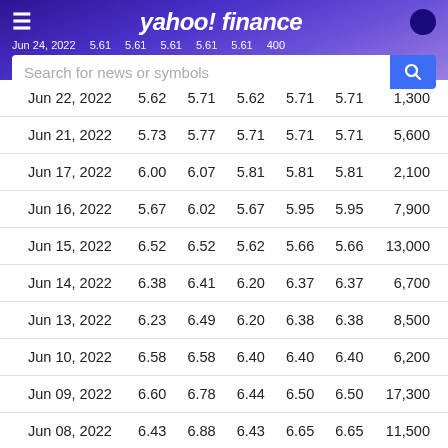Yahoo Finance — Jun 24, 2022: 5.61 5.61 5.61 5.61 5.61 400
| Date | Open | High | Low | Close | Adj Close | Volume |
| --- | --- | --- | --- | --- | --- | --- |
| Jun 22, 2022 | 5.62 | 5.71 | 5.62 | 5.71 | 5.71 | 1,300 |
| Jun 21, 2022 | 5.73 | 5.77 | 5.71 | 5.71 | 5.71 | 5,600 |
| Jun 17, 2022 | 6.00 | 6.07 | 5.81 | 5.81 | 5.81 | 2,100 |
| Jun 16, 2022 | 5.67 | 6.02 | 5.67 | 5.95 | 5.95 | 7,900 |
| Jun 15, 2022 | 6.52 | 6.52 | 5.62 | 5.66 | 5.66 | 13,000 |
| Jun 14, 2022 | 6.38 | 6.41 | 6.20 | 6.37 | 6.37 | 6,700 |
| Jun 13, 2022 | 6.23 | 6.49 | 6.20 | 6.38 | 6.38 | 8,500 |
| Jun 10, 2022 | 6.58 | 6.58 | 6.40 | 6.40 | 6.40 | 6,200 |
| Jun 09, 2022 | 6.60 | 6.78 | 6.44 | 6.50 | 6.50 | 17,300 |
| Jun 08, 2022 | 6.43 | 6.88 | 6.43 | 6.65 | 6.65 | 11,500 |